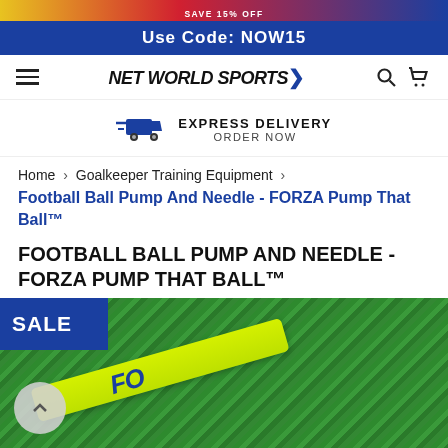Use Code: NOW15
NET WORLD SPORTS
EXPRESS DELIVERY
ORDER NOW
Home > Goalkeeper Training Equipment >
Football Ball Pump And Needle - FORZA Pump That Ball™
FOOTBALL BALL PUMP AND NEEDLE - FORZA PUMP THAT BALL™
[Figure (photo): Product photo of a FORZA football ball pump (yellow/green) lying on green artificial turf grass. A SALE badge overlay appears in the top-left corner, and a scroll-up button is at the bottom-left.]